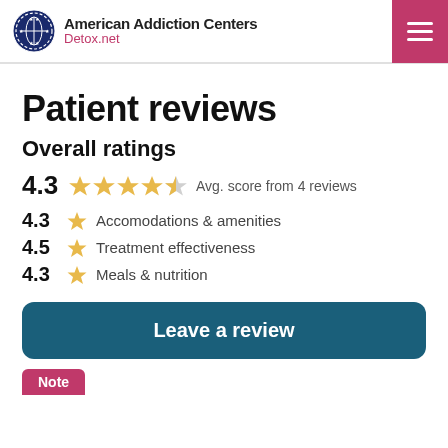American Addiction Centers Detox.net
Patient reviews
Overall ratings
4.3 ★★★★½ Avg. score from 4 reviews
4.3 ★ Accomodations & amenities
4.5 ★ Treatment effectiveness
4.3 ★ Meals & nutrition
Leave a review
Note